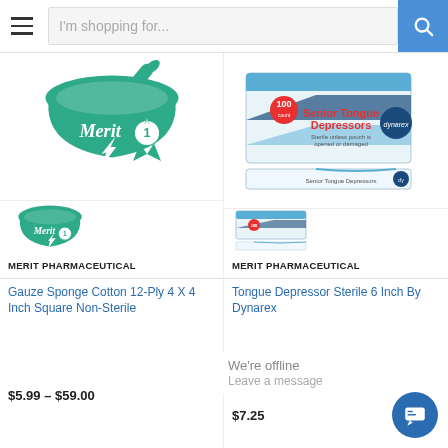I'm shopping for...
[Figure (logo): Merit Pharmaceutical logo - green mortar and pestle with Merit 1 text]
[Figure (photo): Dynarex Senior Tongue Depressors box, 100 count, 6 inch, with individual package below]
[Figure (logo): Merit Pharmaceutical small thumbnail logo]
[Figure (photo): Dynarex tongue depressor small thumbnail]
MERIT PHARMACEUTICAL
MERIT PHARMACEUTICAL
Gauze Sponge Cotton 12-Ply 4 X 4 Inch Square Non-Sterile
Tongue Depressor Sterile 6 Inch By Dynarex
$5.99 – $59.00
$7.25